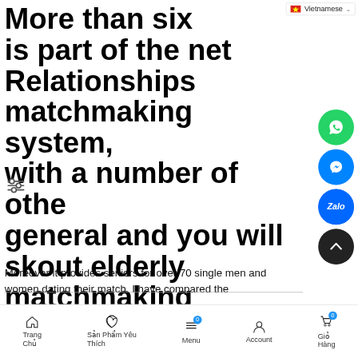Vietnamese
More than six is part of the net Relationships matchmaking system, with a number of other general and you will skout elderly matchmaking ratings
Moreover it provides seniors for over 70 single men and women dating their match. I have compared the
Trang Chủ | Sản Phẩm Yêu Thích | Menu | Account | Giỏ Hàng